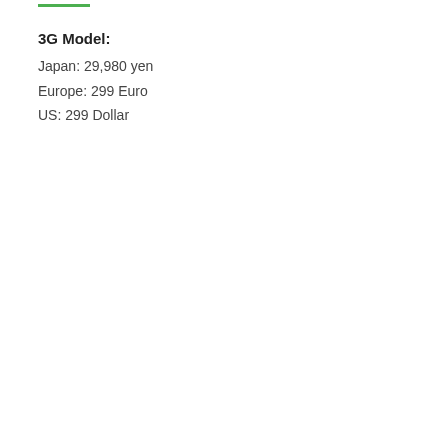3G Model:
Japan: 29,980 yen
Europe: 299 Euro
US: 299 Dollar